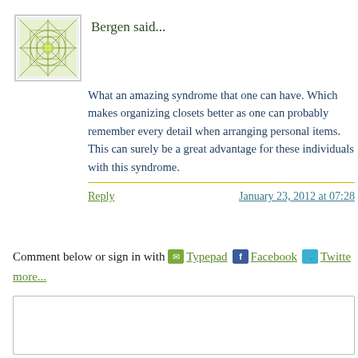Bergen said...
What an amazing syndrome that one can have. Which makes organizing closets better as one can probably remember every detail when arranging personal items. This can surely be a great advantage for these individuals with this syndrome.
Reply
January 23, 2012 at 07:28
Comment below or sign in with Typepad Facebook Twitter more...